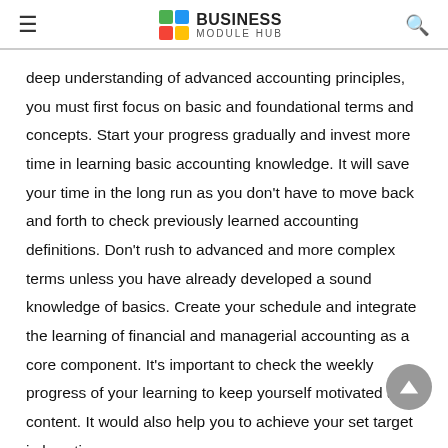BUSINESS MODULE HUB
deep understanding of advanced accounting principles, you must first focus on basic and foundational terms and concepts. Start your progress gradually and invest more time in learning basic accounting knowledge. It will save your time in the long run as you don't have to move back and forth to check previously learned accounting definitions. Don't rush to advanced and more complex terms unless you have already developed a sound knowledge of basics. Create your schedule and integrate the learning of financial and managerial accounting as a core component. It's important to check the weekly progress of your learning to keep yourself motivated and content. It would also help you to achieve your set target in less time.